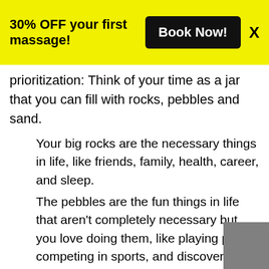30% OFF your first massage! Book Now! X
prioritization: Think of your time as a jar that you can fill with rocks, pebbles and sand.
Your big rocks are the necessary things in life, like friends, family, health, career, and sleep.
The pebbles are the fun things in life that aren't completely necessary but you love doing them, like playing piano, competing in sports, and discovering your passion for baking.
Your sand is all the bonus activities that are enjoyable but not at all important to your survival and fulfillment, like checking Instagram, playing video games and going out drinking.
Now if you fill your time with sand first, it wouldn't